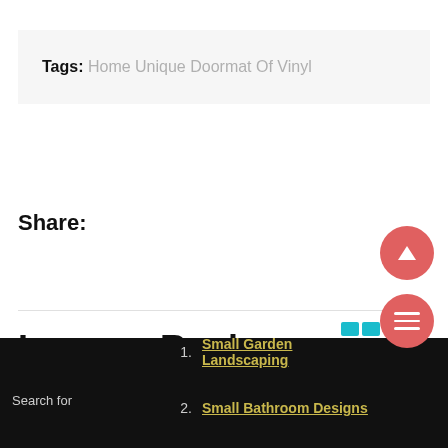Tags: Home Unique Doormat Of Vinyl
Share:
Leave a Reply
Your email address will not be published. Required fields
Search for
1. Small Garden Landscaping
2. Small Bathroom Designs